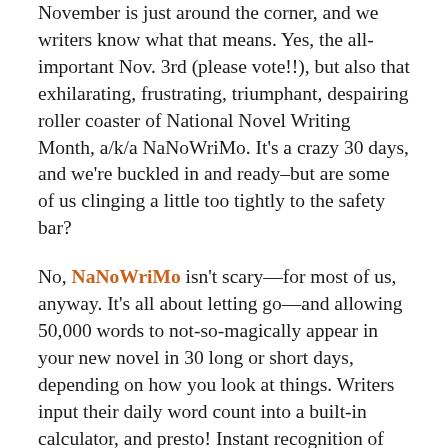November is just around the corner, and we writers know what that means. Yes, the all-important Nov. 3rd (please vote!!), but also that exhilarating, frustrating, triumphant, despairing roller coaster of National Novel Writing Month, a/k/a NaNoWriMo. It's a crazy 30 days, and we're buckled in and ready–but are some of us clinging a little too tightly to the safety bar?
No, NaNoWriMo isn't scary—for most of us, anyway. It's all about letting go—and allowing 50,000 words to not-so-magically appear in your new novel in 30 long or short days, depending on how you look at things. Writers input their daily word count into a built-in calculator, and presto! Instant recognition of your progress on a handy-dandy progress chart. With a suggested goal of 50,000 words, that's a mere 1666.66667 words per day. Yay! (Or...ouch.) Plus, you can earn badges along the way, just like Girl Scouts. Here's the one you get when you sign up: